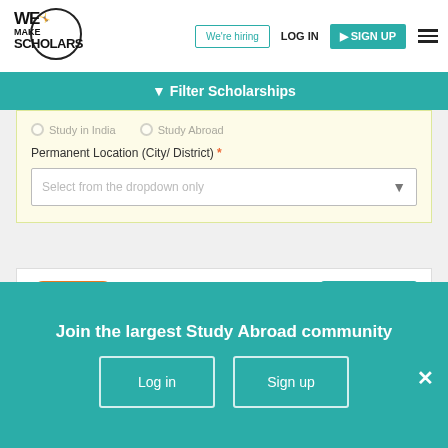[Figure (logo): We Make Scholars logo with stick figure and circular border]
We're hiring
LOG IN
SIGN UP
Filter Scholarships
Study in India
Study Abroad
Permanent Location (City/ District) *
Select from the dropdown only
[Figure (logo): UICC global cancer control logo in orange speech bubble]
Expires in
134 days
Join the largest Study Abroad community
Log in
Sign up